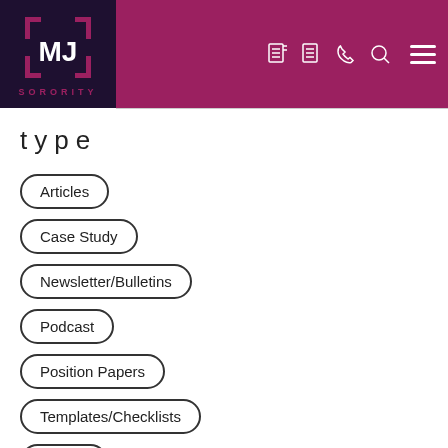MJ SORORITY - navigation header with logo and icons
type
Articles
Case Study
Newsletter/Bulletins
Podcast
Position Papers
Templates/Checklists
Visuals
Webinar/Presentations